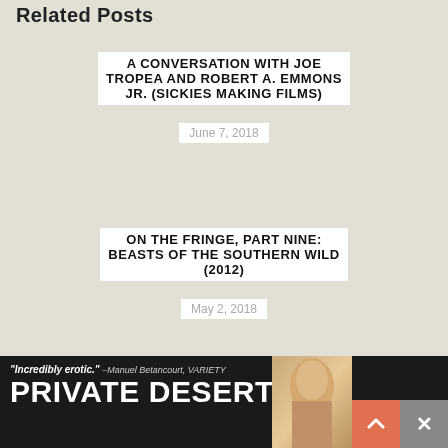Related Posts
A CONVERSATION WITH JOE TROPEA AND ROBERT A. EMMONS JR. (SICKIES MAKING FILMS)
June 7, 2018
ON THE FRINGE, PART NINE: BEASTS OF THE SOUTHERN WILD (2012)
May 2, 2018
[Figure (other): Advertisement banner: quote 'Incredibly erotic.' -Manuel Betancourt, VARIETY with title text 'PRIVATE DESERT' and a photo of a person]